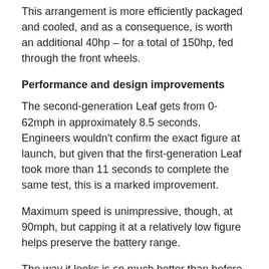This arrangement is more efficiently packaged and cooled, and as a consequence, is worth an additional 40hp – for a total of 150hp, fed through the front wheels.
Performance and design improvements
The second-generation Leaf gets from 0-62mph in approximately 8.5 seconds. Engineers wouldn't confirm the exact figure at launch, but given that the first-generation Leaf took more than 11 seconds to complete the same test, this is a marked improvement.
Maximum speed is unimpressive, though, at 90mph, but capping it at a relatively low figure helps preserve the battery range.
The way it looks is so much better than before. Some will bemoan the loss of the individuality of the original car, but the new one will have wider appeal to potential converts to electric driving, and more conventional styling.